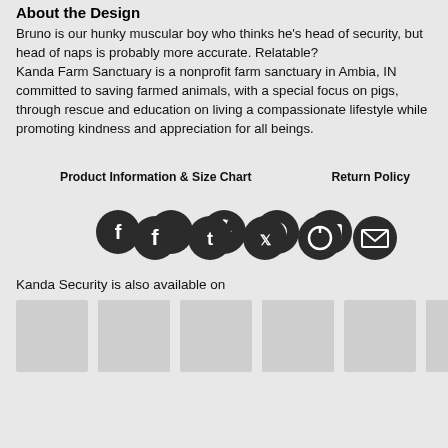About the Design
Bruno is our hunky muscular boy who thinks he's head of security, but head of naps is probably more accurate. Relatable?
Kanda Farm Sanctuary is a nonprofit farm sanctuary in Ambia, IN committed to saving farmed animals, with a special focus on pigs, through rescue and education on living a compassionate lifestyle while promoting kindness and appreciation for all beings.
Product Information & Size Chart
Return Policy
[Figure (infographic): Row of 5 social media share icons: Facebook, Tumblr, Twitter, Pinterest, Email — dark circular buttons]
Kanda Security is also available on
[Figure (infographic): Row of product thumbnail images (light gray placeholder boxes showing available product variants)]